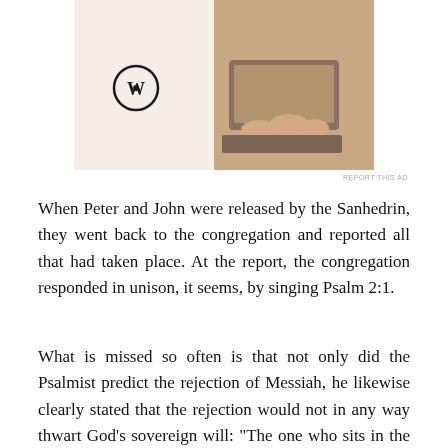[Figure (photo): Advertisement image showing a person typing on a laptop, with a WordPress logo on the left side. Beige/pink background.]
REPORT THIS AD
When Peter and John were released by the Sanhedrin, they went back to the congregation and reported all that had taken place. At the report, the congregation responded in unison, it seems, by singing Psalm 2:1.
What is missed so often is that not only did the Psalmist predict the rejection of Messiah, he likewise clearly stated that the rejection would not in any way thwart God’s sovereign will: “The one who sits in the heavens laughs. He will hold them in derision. Then He will speak to them in His Wrath… Yet (meaning, in spite of the rejection of Messiah, DKP) have I set My King on My holy hill.” Notice that “Yet,” It forcefully declares that man’s best (worst)